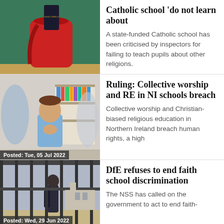[Figure (photo): Red school backpack with a Bible/book sticking out, in front of a chalkboard]
Catholic school 'do not learn about
A state-funded Catholic school has been criticised by inspectors for failing to teach pupils about other religions.
[Figure (photo): Young boy with hands clasped in prayer pose in a classroom, blurred children around him. Badge: Posted: Tue, 05 Jul 2022]
Ruling: Collective worship and RE in NI schools breach
Collective worship and Christian-biased religious education in Northern Ireland breach human rights, a high
[Figure (photo): Child standing behind iron school gates. Badge: Posted: Wed, 29 Jun 2022]
DfE refuses to end faith school discrimination
The NSS has called on the government to act to end faith-